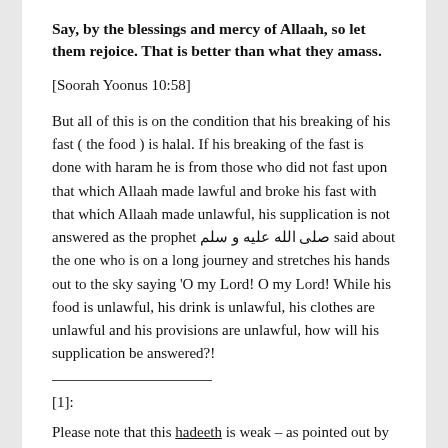Say, by the blessings and mercy of Allaah, so let them rejoice. That is better than what they amass.
[Soorah Yoonus 10:58]
But all of this is on the condition that his breaking of his fast ( the food ) is halal. If his breaking of the fast is done with haram he is from those who did not fast upon that which Allaah made lawful and broke his fast with that which Allaah made unlawful, his supplication is not answered as the prophet صلى الله عليه و سلم said about the one who is on a long journey and stretches his hands out to the sky saying 'O my Lord! O my Lord! While his food is unlawful, his drink is unlawful, his clothes are unlawful and his provisions are unlawful, how will his supplication be answered?!
[1]:
Please note that this hadeeth is weak – as pointed out by Sh